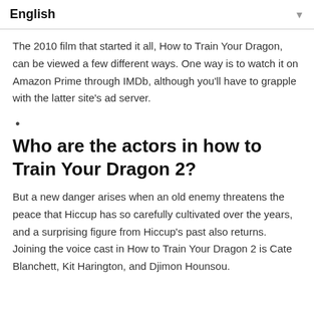English
The 2010 film that started it all, How to Train Your Dragon, can be viewed a few different ways. One way is to watch it on Amazon Prime through IMDb, although you'll have to grapple with the latter site's ad server.
•
Who are the actors in how to Train Your Dragon 2?
But a new danger arises when an old enemy threatens the peace that Hiccup has so carefully cultivated over the years, and a surprising figure from Hiccup's past also returns. Joining the voice cast in How to Train Your Dragon 2 is Cate Blanchett, Kit Harington, and Djimon Hounsou.